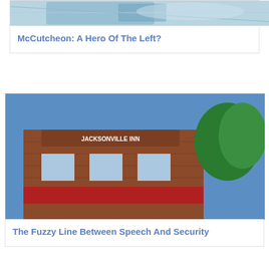[Figure (photo): Partial photo at top, light blue/teal abstract image, cropped]
McCutcheon: A Hero Of The Left?
[Figure (photo): Photo of a brick building with red awning — Jacksonville Inn]
The Fuzzy Line Between Speech And Security
[Figure (photo): Dark concert photo with band members performing on stage with colored lights]
A Perplexing Slant On Free Speech
[Figure (photo): Photo of The Slants band drum kit with yellow text logo on black background]